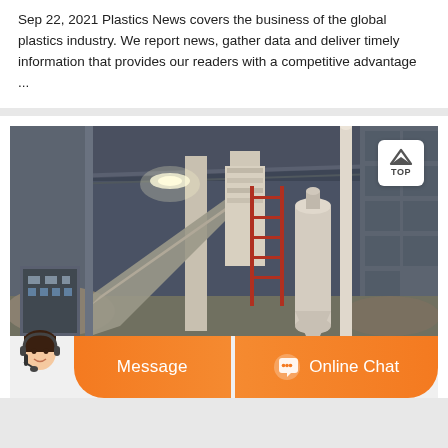Sep 22, 2021 Plastics News covers the business of the global plastics industry. We report news, gather data and deliver timely information that provides our readers with a competitive advantage ...
[Figure (photo): Industrial machinery inside a large warehouse/factory — appears to show grinding or milling equipment with conveyor, cylindrical towers, and control panel]
Message
Online Chat